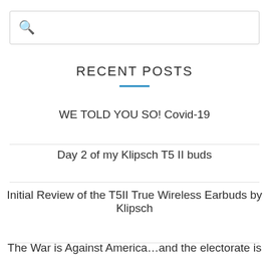[Figure (other): Search input box with magnifying glass icon]
RECENT POSTS
WE TOLD YOU SO! Covid-19
Day 2 of my Klipsch T5 II buds
Initial Review of the T5II True Wireless Earbuds by Klipsch
The War is Against America…and the electorate is